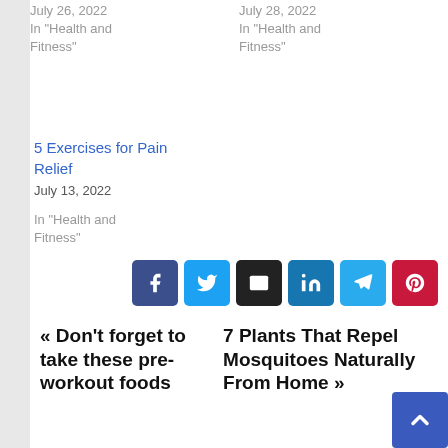July 26, 2022
In "Health and Fitness"
July 28, 2022
In "Health and Fitness"
5 Exercises for Pain Relief
July 13, 2022
In "Health and Fitness"
[Figure (infographic): Social share buttons: Facebook, Twitter, Email, LinkedIn, Telegram, Pinterest]
« Don't forget to take these pre-workout foods
7 Plants That Repel Mosquitoes Naturally From Home »